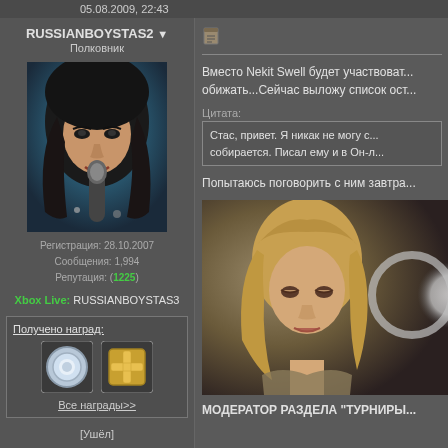05.08.2009, 22:43
RUSSIANBOYSTAS2 ▼
Полковник
[Figure (photo): Avatar photo of a dark-haired woman singing into a microphone on stage]
Регистрация: 28.10.2007
Сообщения: 1,994
Репутация: (1225)
Xbox Live: RUSSIANBOYSTAS3
Получено наград:
[Figure (illustration): Two award badge icons - a circular blue badge and a gold cross/star badge]
Все награды>>
[Ушёл]
[Figure (illustration): Small document/note icon]
Вместо Nekit Swell будет участвоват... обижать...Сейчас выложу список ост...
Цитата:
Стас, привет. Я никак не могу с... собирается. Писал ему и в Он-л...
Попытаюсь поговорить с ним завтра...
[Figure (photo): Photo of a blonde woman looking downward with a circular light/spotlight in background]
МОДЕРАТОР РАЗДЕЛА "ТУРНИРЫ..."